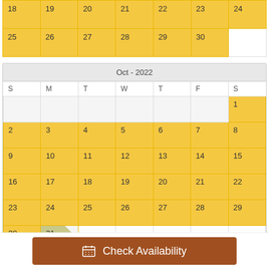| S | M | T | W | T | F | S |
| --- | --- | --- | --- | --- | --- | --- |
| 18 | 19 | 20 | 21 | 22 | 23 | 24 |
| 25 | 26 | 27 | 28 | 29 | 30 |  |
| S | M | T | W | T | F | S |
| --- | --- | --- | --- | --- | --- | --- |
|  |  |  |  |  |  | 1 |
| 2 | 3 | 4 | 5 | 6 | 7 | 8 |
| 9 | 10 | 11 | 12 | 13 | 14 | 15 |
| 16 | 17 | 18 | 19 | 20 | 21 | 22 |
| 23 | 24 | 25 | 26 | 27 | 28 | 29 |
| 30 | 31 |  |  |  |  |  |
| S | M | T | W | T | F | S |
| --- | --- | --- | --- | --- | --- | --- |
Check Availability